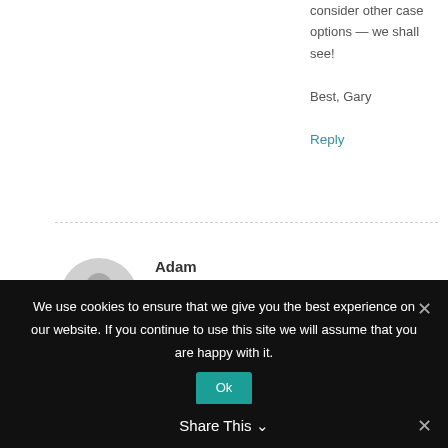consider other case options — we shall see!

Best, Gary
Reply
Adam
June 18, 2017 at 6:37 pm
Thank you for such a thoughtfully written article. I think it brings the much needed balance, and the voice of
We use cookies to ensure that we give you the best experience on our website. If you continue to use this site we will assume that you are happy with it.
Ok
Share This